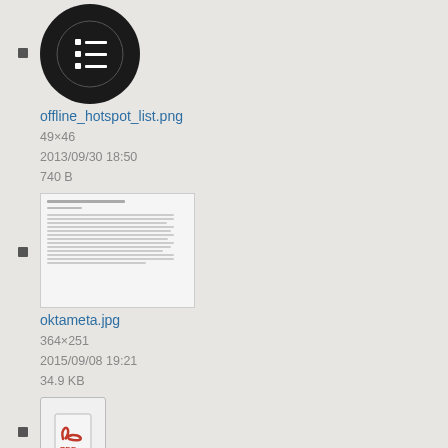offline_hotspot_list.png
49×46
2013/09/30 18:50
740 B
oktameta.jpg
364×251
2015/09/08 19:21
34.9 KB
om_1-4-x_user_guide.pdf
2012/08/22 17:32
381.2 KB
om_2-9-1_user_guide.pdf (partial)